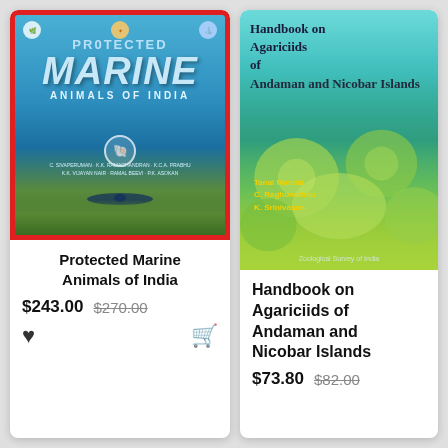[Figure (photo): Book cover: Protected Marine Animals of India with underwater scene, manta ray, and logos]
Protected Marine Animals of India
$243.00  $270.00
[Figure (photo): Book cover: Handbook on Agariciids of Andaman and Nicobar Islands with coral reef photo]
Handbook on Agariciids of Andaman and Nicobar Islands
$73.80  $82.00